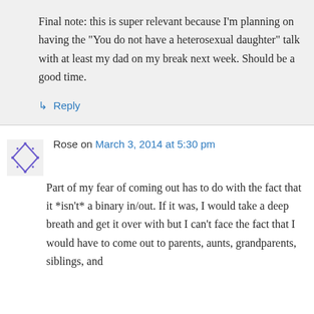Final note: this is super relevant because I’m planning on having the “You do not have a heterosexual daughter” talk with at least my dad on my break next week. Should be a good time.
↳ Reply
Rose on March 3, 2014 at 5:30 pm
Part of my fear of coming out has to do with the fact that it *isn’t* a binary in/out. If it was, I would take a deep breath and get it over with but I can’t face the fact that I would have to come out to parents, aunts, grandparents, siblings, and